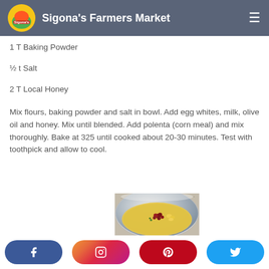Sigona's Farmers Market
1 T Baking Powder
½ t Salt
2 T Local Honey
Mix flours, baking powder and salt in bowl. Add egg whites, milk, olive oil and honey. Mix until blended. Add polenta (corn meal) and mix thoroughly. Bake at 325 until cooked about 20-30 minutes. Test with toothpick and allow to cool.
[Figure (photo): A metal mixing bowl partially filled with corn meal batter and topped with colorful berries and other fruits, sitting on a granite countertop.]
Social share bar: Facebook, Instagram, Pinterest, Twitter